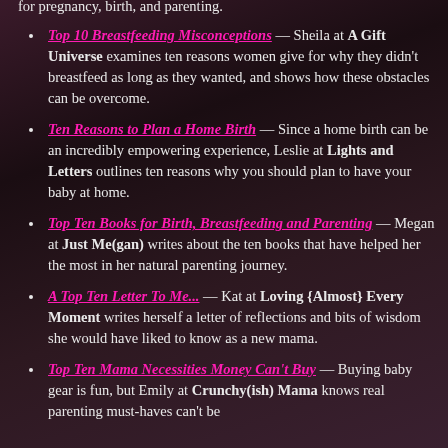for pregnancy, birth, and parenting.
Top 10 Breastfeeding Misconceptions — Sheila at A Gift Universe examines ten reasons women give for why they didn't breastfeed as long as they wanted, and shows how these obstacles can be overcome.
Ten Reasons to Plan a Home Birth — Since a home birth can be an incredibly empowering experience, Leslie at Lights and Letters outlines ten reasons why you should plan to have your baby at home.
Top Ten Books for Birth, Breastfeeding and Parenting — Megan at Just Me(gan) writes about the ten books that have helped her the most in her natural parenting journey.
A Top Ten Letter To Me... — Kat at Loving {Almost} Every Moment writes herself a letter of reflections and bits of wisdom she would have liked to know as a new mama.
Top Ten Mama Necessities Money Can't Buy — Buying baby gear is fun, but Emily at Crunchy(ish) Mama knows real parenting must-haves can't be